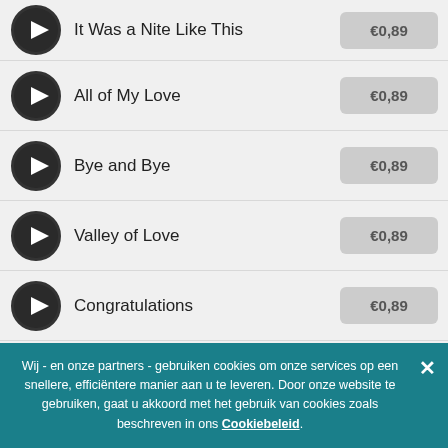It Was a Nite Like This — €0,89
All of My Love — €0,89
Bye and Bye — €0,89
Valley of Love — €0,89
Congratulations — €0,89
The Waddo-Do — €0,89
Wij - en onze partners - gebruiken cookies om onze services op een snellere, efficiëntere manier aan u te leveren. Door onze website te gebruiken, gaat u akkoord met het gebruik van cookies zoals beschreven in ons Cookiebeleid.